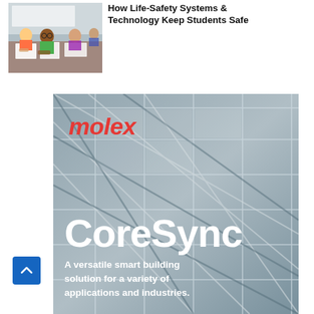[Figure (photo): Photo of children sitting at a classroom desk, working on papers. Young students including a boy with glasses wearing a green shirt in focus.]
How Life-Safety Systems & Technology Keep Students Safe
[Figure (illustration): Molex CoreSync advertisement banner. Background shows glass ceiling panels with diagonal lines. Top left has red italic 'molex' logo. Large white bold text reads 'CoreSync'. Below reads 'A versatile smart building solution for a variety of applications and industries.']